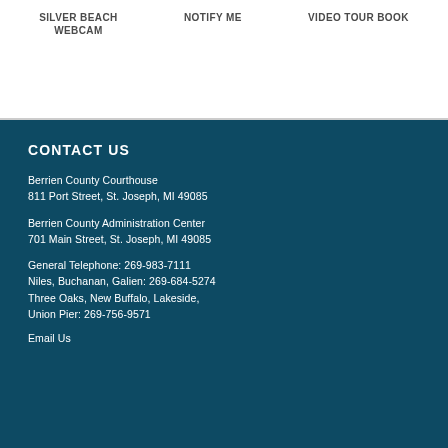SILVER BEACH WEBCAM
NOTIFY ME
VIDEO TOUR BOOK
CONTACT US
Berrien County Courthouse
811 Port Street, St. Joseph, MI 49085
Berrien County Administration Center
701 Main Street, St. Joseph, MI 49085
General Telephone: 269-983-7111
Niles, Buchanan, Galien: 269-684-5274
Three Oaks, New Buffalo, Lakeside,
Union Pier: 269-756-9571
Email Us